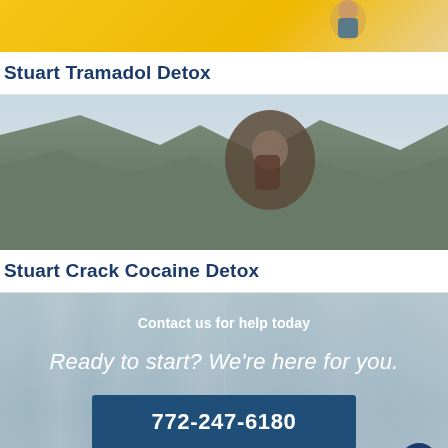[Figure (photo): Yellow background with person smiling and talking on phone, partially visible at top]
Stuart Tramadol Detox
[Figure (photo): Person climbing rocky cliff face, outdoor nature scene]
Stuart Crack Cocaine Detox
Contact us for help today
Ready to start? We're here for you.
772-247-6180